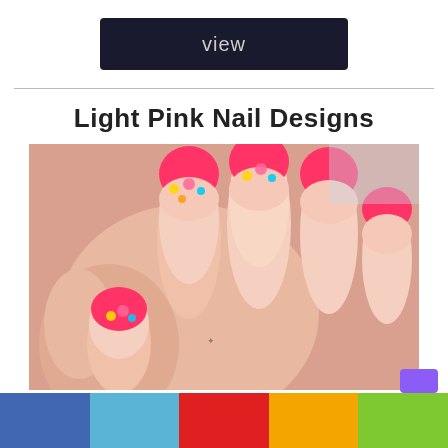view
Light Pink Nail Designs
[Figure (photo): Close-up photo of a hand showing almond-shaped nails painted with a light pink base and bright red/pink French tips decorated with colorful rhinestones and glitter near the cuticle area.]